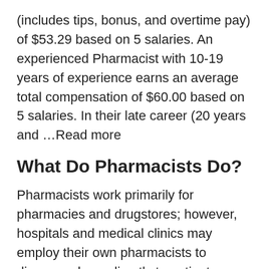(includes tips, bonus, and overtime pay) of $53.29 based on 5 salaries. An experienced Pharmacist with 10-19 years of experience earns an average total compensation of $60.00 based on 5 salaries. In their late career (20 years and …Read more
What Do Pharmacists Do?
Pharmacists work primarily for pharmacies and drugstores; however, hospitals and medical clinics may employ their own pharmacists to dispense drugs directly to patients. Pharmacists who work for hospitals must analyze both in-patient and out-patient medication, so close attention to detail is very important in this position to ensure the accuracy of filled prescriptions.
In addition to filling prescriptions from medical